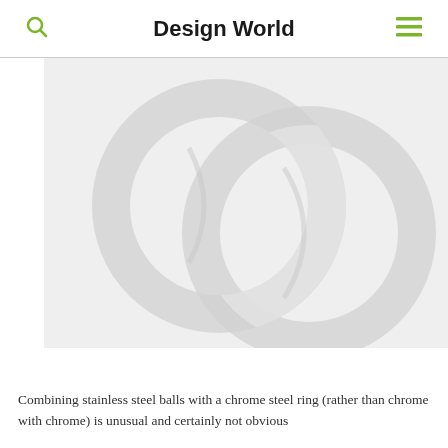Design World
[Figure (photo): Two interlocked rings/bearings shown on a light gray background — stainless steel balls with chrome steel ring illustration.]
Combining stainless steel balls with a chrome steel ring (rather than chrome with chrome) is unusual and certainly not obvious